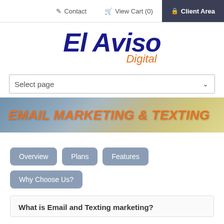Contact  View Cart (0)  Client Area
[Figure (logo): El Aviso Digital logo — bold dark blue italic text 'El Aviso' with orange italic script 'Digital' below]
[Figure (screenshot): Select page dropdown control]
[Figure (infographic): Hero banner image with text EMAIL MARKETING & TEXTING in bold orange italic on a blurred background of a phone and documents]
Overview
Plans
Features
Why Choose Us?
What is Email and Texting marketing?